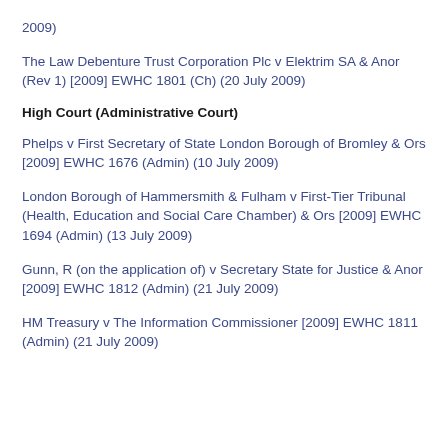2009)
The Law Debenture Trust Corporation Plc v Elektrim SA & Anor (Rev 1) [2009] EWHC 1801 (Ch) (20 July 2009)
High Court (Administrative Court)
Phelps v First Secretary of State London Borough of Bromley & Ors [2009] EWHC 1676 (Admin) (10 July 2009)
London Borough of Hammersmith & Fulham v First-Tier Tribunal (Health, Education and Social Care Chamber) & Ors [2009] EWHC 1694 (Admin) (13 July 2009)
Gunn, R (on the application of) v Secretary State for Justice & Anor [2009] EWHC 1812 (Admin) (21 July 2009)
HM Treasury v The Information Commissioner [2009] EWHC 1811 (Admin) (21 July 2009)